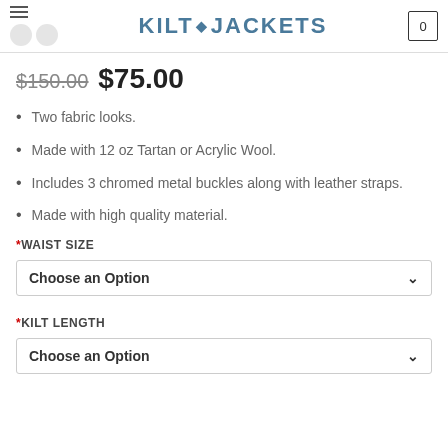KILT JACKETS
$150.00 $75.00
Two fabric looks.
Made with 12 oz Tartan or Acrylic Wool.
Includes 3 chromed metal buckles along with leather straps.
Made with high quality material.
*WAIST SIZE
Choose an Option
*KILT LENGTH
Choose an Option